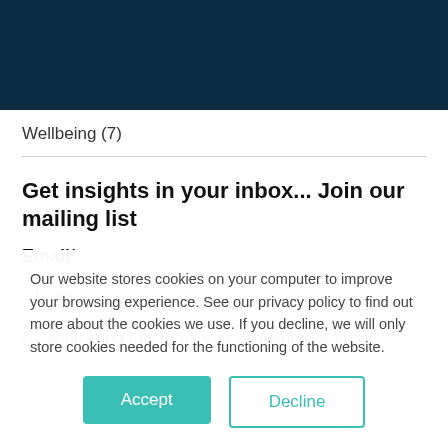SIA
Wellbeing (7)
Get insights in your inbox... Join our mailing list
Email*
By submitting this form, you consent to Sales
Our website stores cookies on your computer to improve your browsing experience. See our privacy policy to find out more about the cookies we use. If you decline, we will only store cookies needed for the functioning of the website.
Accept
Decline